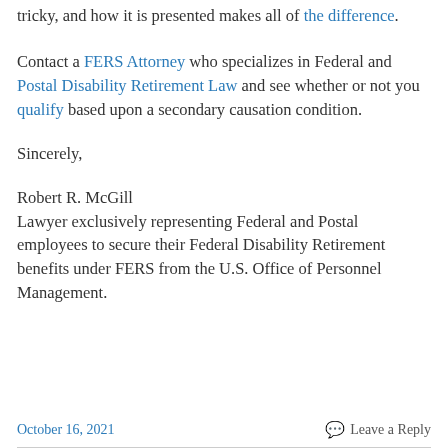tricky, and how it is presented makes all of the difference.
Contact a FERS Attorney who specializes in Federal and Postal Disability Retirement Law and see whether or not you qualify based upon a secondary causation condition.
Sincerely,
Robert R. McGill
Lawyer exclusively representing Federal and Postal employees to secure their Federal Disability Retirement benefits under FERS from the U.S. Office of Personnel Management.
October 16, 2021    Leave a Reply